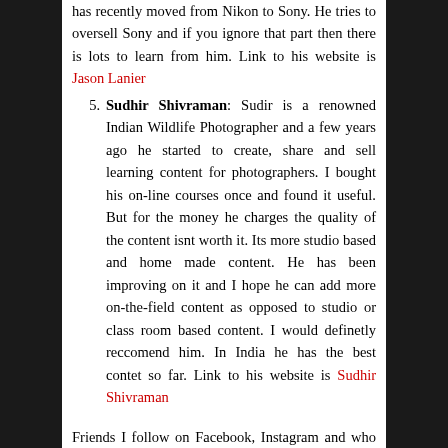(continuation) has recently moved from Nikon to Sony. He tries to oversell Sony and if you ignore that part then there is lots to learn from him. Link to his website is Jason Lanier
5. Sudhir Shivraman: Sudir is a renowned Indian Wildlife Photographer and a few years ago he started to create, share and sell learning content for photographers. I bought his on-line courses once and found it useful. But for the money he charges the quality of the content isnt worth it. Its more studio based and home made content. He has been improving on it and I hope he can add more on-the-field content as opposed to studio or class room based content. I would definetly reccomend him. In India he has the best contet so far. Link to his website is Sudhir Shivraman
Friends I follow on Facebook, Instagram and who inspire me with their work, are as follows:
Meera Nerurkar: A young IT professional, who is currently based out of Dusseldorf, Gormany, is an avid